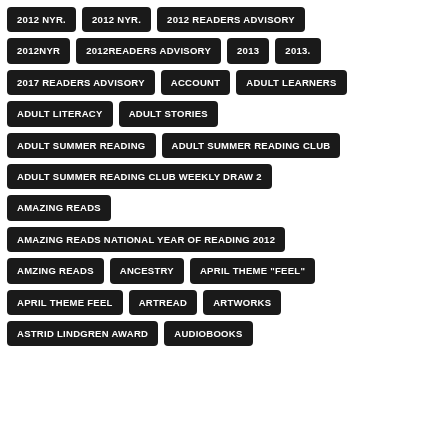2012 NYR.
2012 NYR.
2012 READERS ADVISORY
2012NYR
2012READERS ADVISORY
2013
2013.
2017 READERS ADVISORY
ACCOUNT
ADULT LEARNERS
ADULT LITERACY
ADULT STORIES
ADULT SUMMER READING
ADULT SUMMER READING CLUB
ADULT SUMMER READING CLUB WEEKLY DRAW 2
AMAZING READS
AMAZING READS NATIONAL YEAR OF READING 2012
AMZING READS
ANCESTRY
APRIL THEME "FEEL"
APRIL THEME FEEL
ARTREAD
ARTWORKS
ASTRID LINDGREN AWARD
AUDIOBOOKS